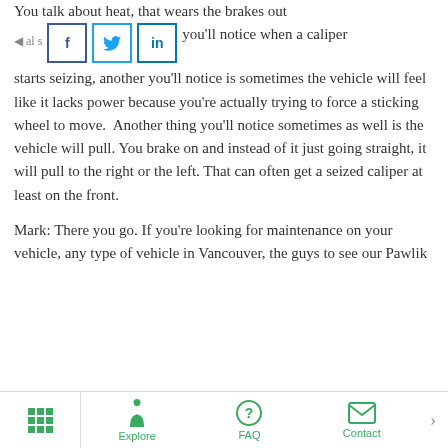You talk about heat, that wears the brakes out … you'll notice when a caliper starts seizing, another you'll notice is sometimes the vehicle will feel like it lacks power because you're actually trying to force a sticking wheel to move. Another thing you'll notice sometimes as well is the vehicle will pull. You brake on and instead of it just going straight, it will pull to the right or the left. That can often get a seized caliper at least on the front.
Mark: There you go. If you're looking for maintenance on your vehicle, any type of vehicle in Vancouver, the guys to see our Pawlik
Explore | FAQ | Contact